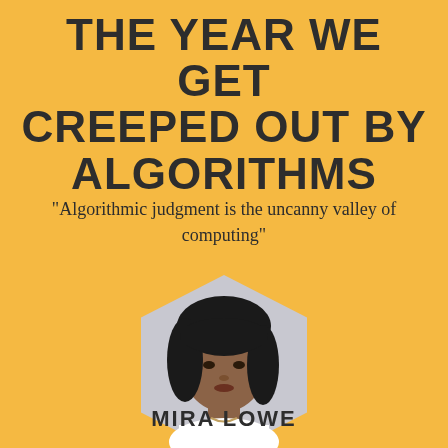THE YEAR WE GET CREEPED OUT BY ALGORITHMS
“Algorithmic judgment is the uncanny valley of computing”
[Figure (photo): Hexagonal framed headshot photo of Mira Lowe, a woman with short dark hair wearing a white top, set against a light grey hexagon background]
MIRA LOWE